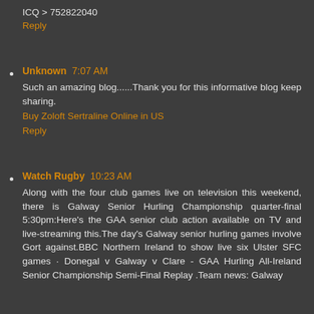ICQ > 752822040
Reply
Unknown 7:07 AM
Such an amazing blog......Thank you for this informative blog keep sharing.
Buy Zoloft Sertraline Online in US
Reply
Watch Rugby 10:23 AM
Along with the four club games live on television this weekend, there is Galway Senior Hurling Championship quarter-final 5:30pm:Here's the GAA senior club action available on TV and live-streaming this.The day's Galway senior hurling games involve Gort against.BBC Northern Ireland to show live six Ulster SFC games · Donegal v Galway v Clare - GAA Hurling All-Ireland Senior Championship Semi-Final Replay .Team news: Galway